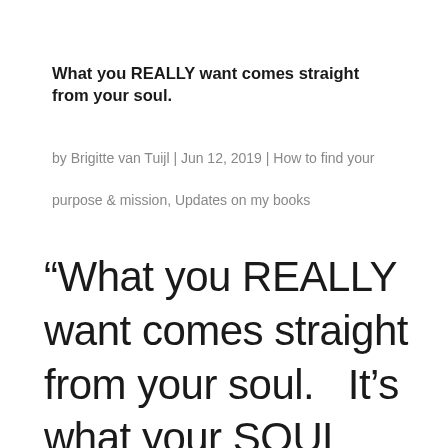What you REALLY want comes straight from your soul.
by Brigitte van Tuijl | Jun 12, 2019 | How to find your purpose & mission, Updates on my books
“What you REALLY want comes straight from your soul.   It’s what your SOUL came here to be, to do, to